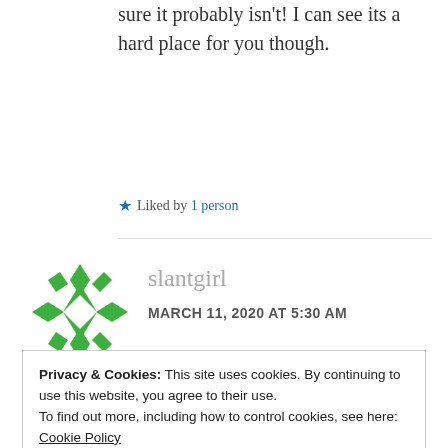sure it probably isn't! I can see its a hard place for you though.
★ Liked by 1 person
slantgirl
MARCH 11, 2020 AT 5:30 AM
Privacy & Cookies: This site uses cookies. By continuing to use this website, you agree to their use.
To find out more, including how to control cookies, see here: Cookie Policy
Close and accept
you were able to lean in to discomfort,